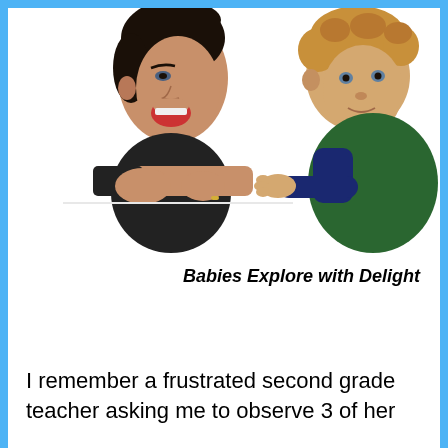[Figure (photo): A woman and a baby facing each other closely. The woman appears to be making an expressive face with her mouth open, while the baby in a green and navy outfit reaches toward her.]
Babies Explore with Delight
I remember a frustrated second grade teacher asking me to observe 3 of her